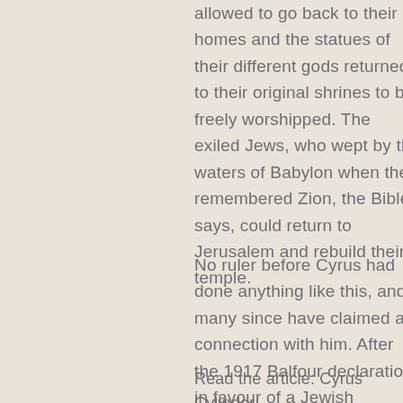allowed to go back to their homes and the statues of their different gods returned to their original shrines to be freely worshipped. The exiled Jews, who wept by the waters of Babylon when they remembered Zion, the Bible says, could return to Jerusalem and rebuild their temple.
No ruler before Cyrus had done anything like this, and many since have claimed a connection with him. After the 1917 Balfour declaration in favour of a Jewish homeland, Jews displayed photographs of King George V alongside images of Cyrus...
Read the article: Cyrus Cylinder: